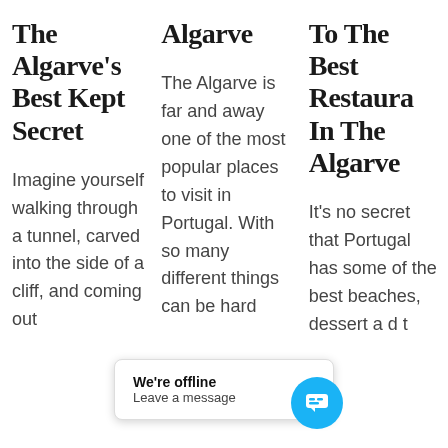The Algarve's Best Kept Secret
Imagine yourself walking through a tunnel, carved into the side of a cliff, and coming out
Algarve
The Algarve is far and away one of the most popular places to visit in Portugal. With so many different things can be hard
To The Best Restaurants In The Algarve
It's no secret that Portugal has some of the best beaches, dessert and d t